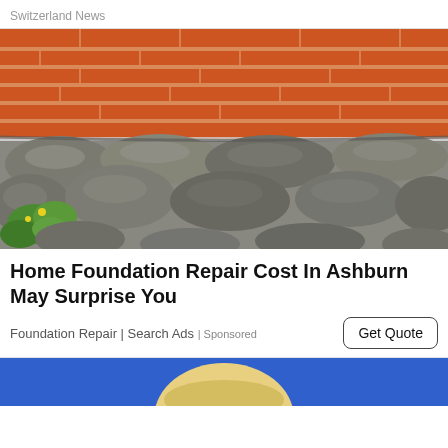Switzerland News
[Figure (photo): Photo of a brick building foundation with red/orange horizontal bricks on top and large rounded stone/rock foundation below, with green plants/weeds visible on the left side]
Home Foundation Repair Cost In Ashburn May Surprise You
Foundation Repair | Search Ads | Sponsored
Get Quote
[Figure (photo): Partial photo of a person against a blue background, only top of head and blonde hair visible]